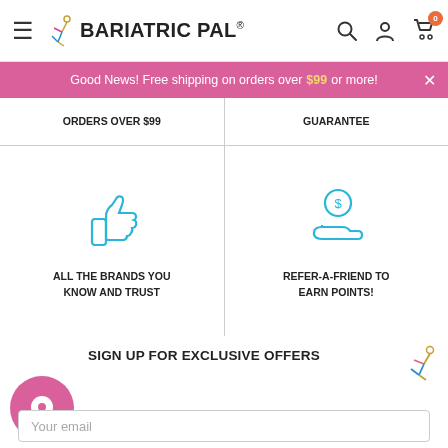BariatricPal® — navigation header with hamburger menu, search, account, and cart icons
Good News! Free shipping on orders over $99 or more!
ORDERS OVER $99
GUARANTEE
[Figure (illustration): Blue thumbs-up icon]
ALL THE BRANDS YOU KNOW AND TRUST
[Figure (illustration): Blue hand holding coin/dollar icon]
REFER-A-FRIEND TO EARN POINTS!
SIGN UP FOR EXCLUSIVE OFFERS
Your email